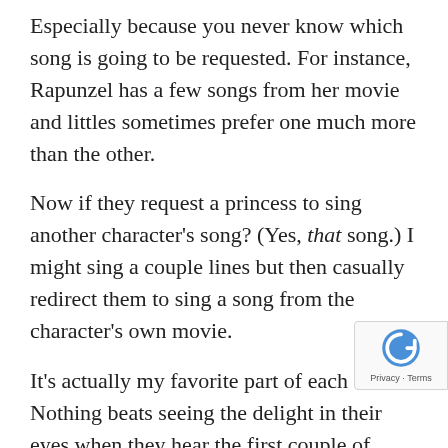Especially because you never know which song is going to be requested. For instance, Rapunzel has a few songs from her movie and littles sometimes prefer one much more than the other.
Now if they request a princess to sing another character's song? (Yes, that song.) I might sing a couple lines but then casually redirect them to sing a song from the character's own movie.
It's actually my favorite part of each event. Nothing beats seeing the delight in their eyes when they hear the first couple of notes, hearing their slightly off key voices singing along with me, and watching them dance when the chorus starts.
Plus it's a lot of fun when I get to dance with them... well, let's just say it's easier to dance as certain characters than others.
Which reminds me of another question I get asked a